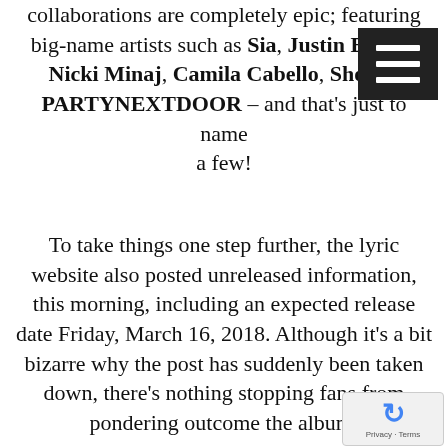collaborations are completely epic; featuring big-name artists such as Sia, Justin Bieber, Nicki Minaj, Camila Cabello, Showtek, PARTYNEXTDOOR – and that's just to name a few!
To take things one step further, the lyric website also posted unreleased information, this morning, including an expected release date Friday, March 16, 2018. Although it's a bit bizarre why the post has suddenly been taken down, there's nothing stopping fans from pondering outcome the album.